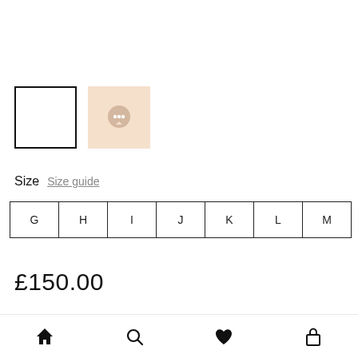[Figure (screenshot): Two product thumbnails: a white empty square with black border, and a beige/peach square with a chat bubble icon]
Size  Size guide
G
H
I
J
K
L
M
£150.00
Category  Rings